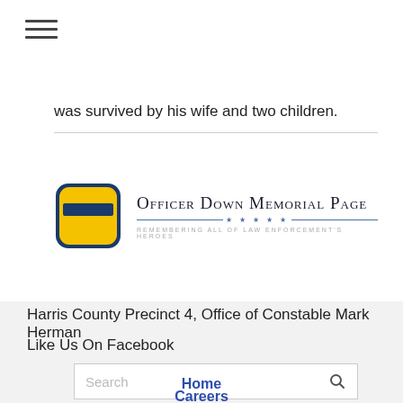[Figure (other): Hamburger menu icon (three horizontal lines)]
was survived by his wife and two children.
[Figure (logo): Officer Down Memorial Page logo with badge icon and text 'Officer Down Memorial Page — Remembering All of Law Enforcement's Heroes']
Harris County Precinct 4, Office of Constable Mark Herman
Like Us On Facebook
[Figure (other): Search input box with search icon]
Home
Careers
Civil Process